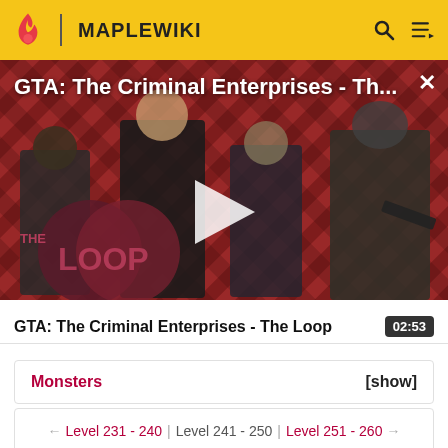MAPLEWIKI
[Figure (screenshot): Video thumbnail for GTA: The Criminal Enterprises - The Loop trailer, showing game characters on a red diagonal striped background with The Loop logo, play button overlay, and title text overlay]
GTA: The Criminal Enterprises - The Loop
02:53
Monsters [show]
← Level 231 - 240 | Level 241 - 250 | Level 251 - 260 →